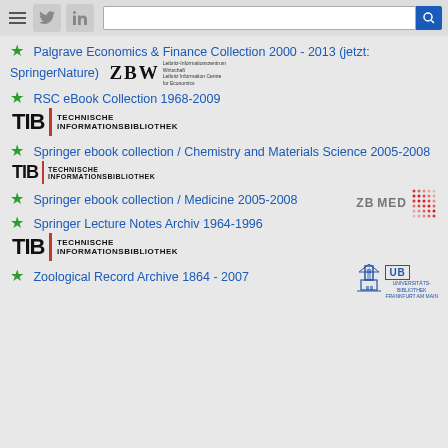Navigation bar with hamburger, Twitter, LinkedIn icons and search bar
Palgrave Economics & Finance Collection 2000 - 2013 (jetzt: SpringerNature) [ZBW logo]
RSC eBook Collection 1968-2009 [TIB logo]
Springer ebook collection / Chemistry and Materials Science 2005-2008 [TIB logo]
Springer ebook collection / Medicine 2005-2008 [ZB MED logo]
Springer Lecture Notes Archiv 1964-1996 [TIB logo]
Zoological Record Archive 1864 - 2007 [UB Frankfurt logo]